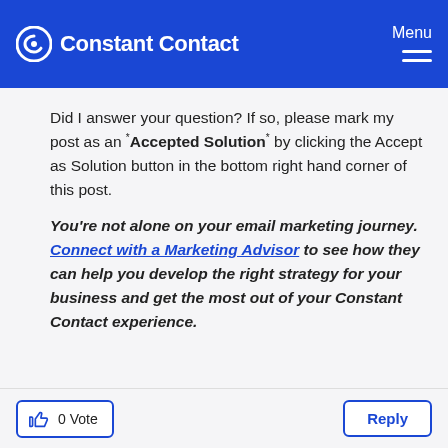Constant Contact — Menu
Did I answer your question? If so, please mark my post as an "Accepted Solution" by clicking the Accept as Solution button in the bottom right hand corner of this post.
You're not alone on your email marketing journey. Connect with a Marketing Advisor to see how they can help you develop the right strategy for your business and get the most out of your Constant Contact experience.
0 Vote    Reply